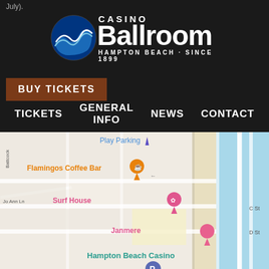July).
[Figure (logo): Casino Ballroom Hampton Beach Since 1899 logo with blue wave icon]
BUY TICKETS
TICKETS | GENERAL INFO | NEWS | CONTACT
[Figure (map): Google Maps view showing Hampton Beach area with markers for Flamingos Coffee Bar, Playa Bowls, Surf House, Janmere, Hampton Beach Casino, Hampton Beach Master Sand Sculpting Classic. Streets include B St, C St, D St, Jo Ann Ln, Battcock. Play Parking shown at top.]